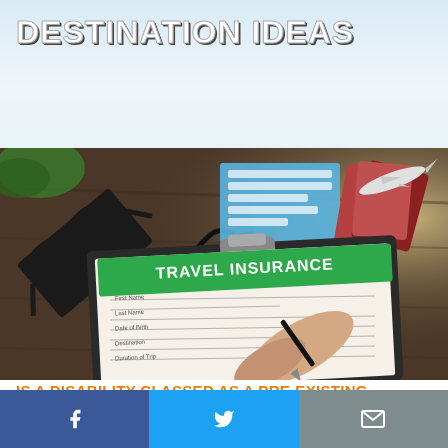DESTINATION IDEAS
[Figure (photo): Person filling out a Travel Insurance form on a clipboard on a wooden desk, with glasses, passport, airplane model, and travel-related items nearby.]
IS A DISABILITY CLASSED AS A PRE-EXISTING MEDICAL CONDITION?
We get that some disabilities may not be considered